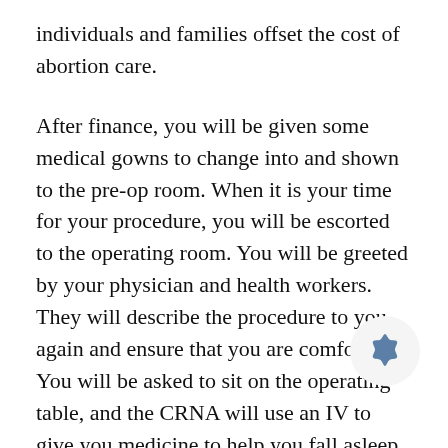individuals and families offset the cost of abortion care.
After finance, you will be given some medical gowns to change into and shown to the pre-op room. When it is your time for your procedure, you will be escorted to the operating room. You will be greeted by your physician and health workers. They will describe the procedure to you again and ensure that you are comfortable. You will be asked to sit on the operating table, and the CRNA will use an IV to give you medicine to help you fall asleep.
If you are using local anesthesia, an abortion